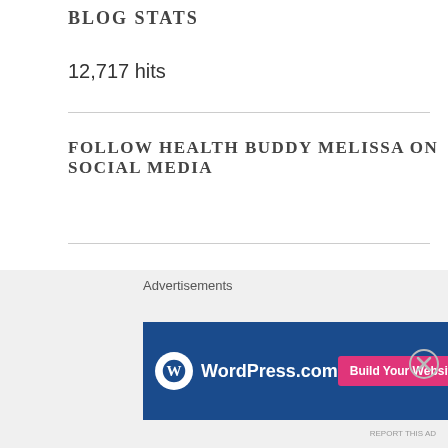BLOG STATS
12,717 hits
FOLLOW HEALTH BUDDY MELISSA ON SOCIAL MEDIA
HEALTH BUDDY MELISSA
Advertisements
[Figure (screenshot): WordPress.com advertisement banner with blue background, WordPress logo, text 'WordPress.com', and a pink 'Build Your Website' button]